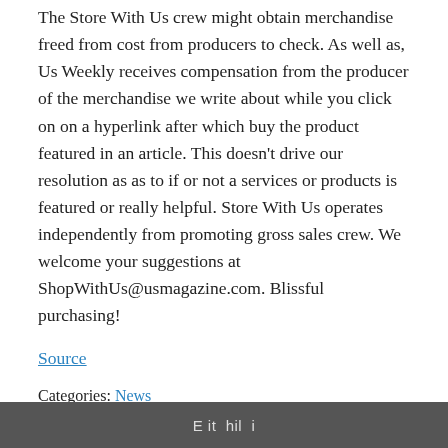The Store With Us crew might obtain merchandise freed from cost from producers to check. As well as, Us Weekly receives compensation from the producer of the merchandise we write about while you click on on a hyperlink after which buy the product featured in an article. This doesn't drive our resolution as as to if or not a services or products is featured or really helpful. Store With Us operates independently from promoting gross sales crew. We welcome your suggestions at ShopWithUs@usmagazine.com. Blissful purchasing!
Source
Categories: News
StapleNews
Back to top
E it hil i